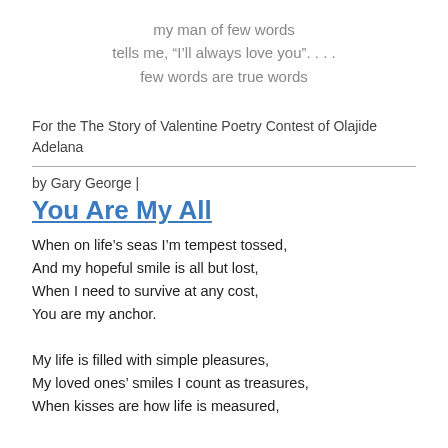my man of few words
tells me, “I’ll always love you”. . . .
few words are true words
For the The Story of Valentine Poetry Contest of Olajide Adelana
by Gary George |
You Are My All
When on life’s seas I’m tempest tossed,
And my hopeful smile is all but lost,
When I need to survive at any cost,
You are my anchor.
My life is filled with simple pleasures,
My loved ones’ smiles I count as treasures,
When kisses are how life is measured,